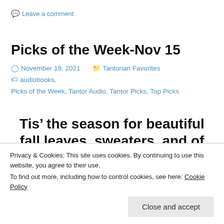Leave a comment
Picks of the Week-Nov 15
November 19, 2021   Tantorian Favorites   audiobooks, Picks of the Week, Tantor Audio, Tantor Picks, Top Picks
Tis’ the season for beautiful fall leaves, sweaters, and of course, cuddling up with a great audiobook...
Privacy & Cookies: This site uses cookies. By continuing to use this website, you agree to their use. To find out more, including how to control cookies, see here: Cookie Policy